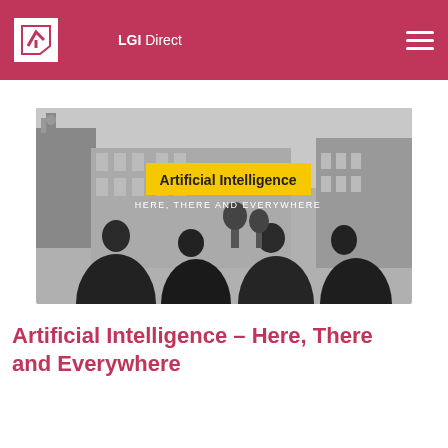LGI Direct
[Figure (photo): Black and white photograph of Liverpool waterfront buildings (including the Royal Liver Building) with bronze statues of The Beatles in the foreground. Overlaid text reads 'Artificial Intelligence' on a yellow banner, and below it 'HERE, THERE AND EVERYWHERE' in white text.]
Artificial Intelligence – Here, There and Everywhere